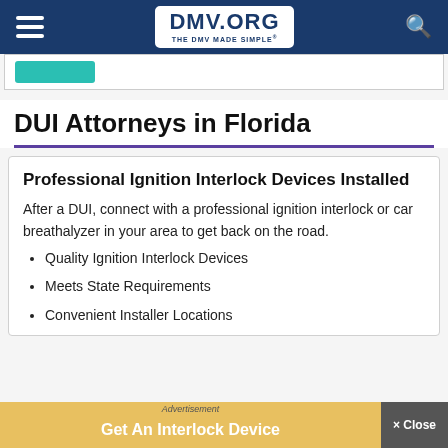DMV.ORG THE DMV MADE SIMPLE
DUI Attorneys in Florida
Professional Ignition Interlock Devices Installed
After a DUI, connect with a professional ignition interlock or car breathalyzer in your area to get back on the road.
Quality Ignition Interlock Devices
Meets State Requirements
Convenient Installer Locations
Advertisement  Get An Interlock Device
× Close